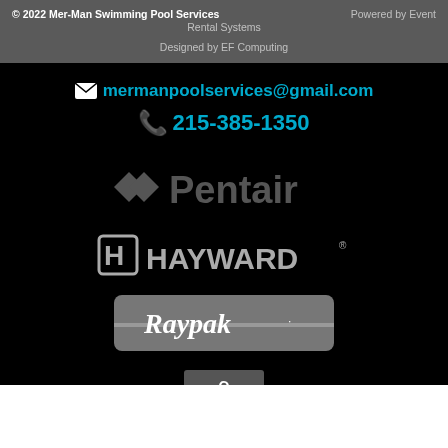© 2022 Mer-Man Swimming Pool Services   Powered by Event Rental Systems   Designed by EF Computing
mermanpoolservices@gmail.com
215-385-1350
[Figure (logo): Pentair logo in dark gray with diamond/star symbol]
[Figure (logo): Hayward logo in white with H in circle/square icon]
[Figure (logo): Raypak logo in white italic text on gray rounded rectangle background]
[Figure (logo): Partial logo at bottom, cut off]